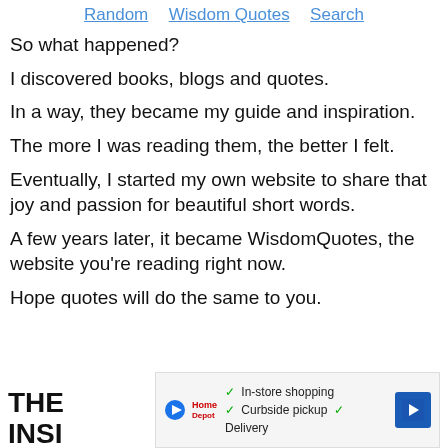Random   Wisdom Quotes   Search
So what happened?
I discovered books, blogs and quotes.
In a way, they became my guide and inspiration.
The more I was reading them, the better I felt.
Eventually, I started my own website to share that joy and passion for beautiful short words.
A few years later, it became WisdomQuotes, the website you're reading right now.
Hope quotes will do the same to you.
THE INSI
[Figure (other): Advertisement banner with play button, logo, checkmarks listing In-store shopping, Curbside pickup, Delivery, and a blue navigation arrow icon]